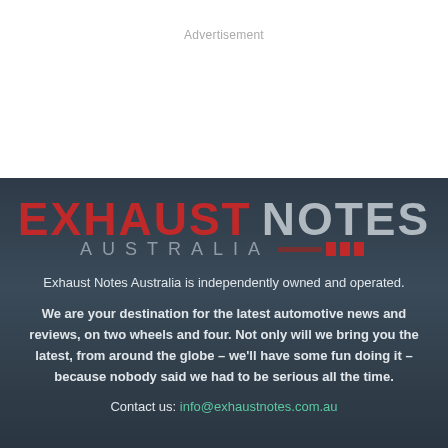Advertisement
[Figure (logo): Exhaust Notes Australia logo with red EXHAUST text, grey NOTES text, grey AUSTRALIA text, and red/grey stripe graphic]
Exhaust Notes Australia is independently owned and operated.
We are your destination for the latest automotive news and reviews, on two wheels and four. Not only will we bring you the latest, from around the globe – we'll have some fun doing it – because nobody said we had to be serious all the time.
Contact us: info@exhaustnotes.com.au